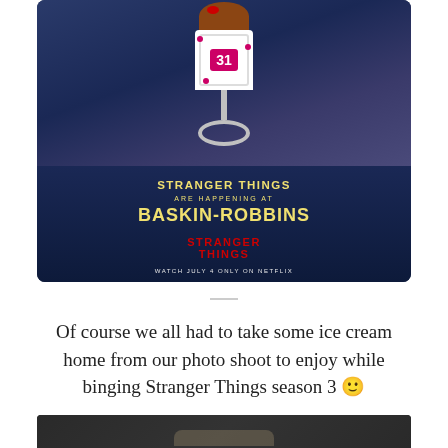[Figure (photo): Baskin-Robbins advertisement featuring a Stranger Things collaboration. Shows an ice cream cone in a Baskin-Robbins '31' branded cup on a metallic stand, against a dark blue background. Text reads: 'STRANGER THINGS ARE HAPPENING AT BASKIN-ROBBINS' with the Stranger Things logo and 'WATCH JULY 4 ONLY ON NETFLIX'.]
Of course we all had to take some ice cream home from our photo shoot to enjoy while binging Stranger Things season 3 🙂
[Figure (photo): Partial view of a second photo, dark background showing the top edge of another image related to the Stranger Things / Baskin-Robbins collaboration.]